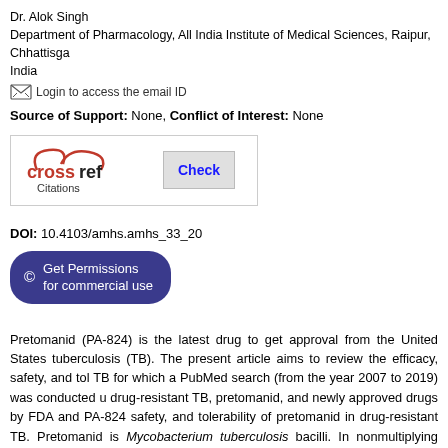Dr. Alok Singh
Department of Pharmacology, All India Institute of Medical Sciences, Raipur, Chhattisgarh, India
Login to access the email ID
Source of Support: None, Conflict of Interest: None
[Figure (logo): CrossRef Check Citations button]
DOI: 10.4103/amhs.amhs_33_20
Get Permissions for commercial use
Pretomanid (PA-824) is the latest drug to get approval from the United States tuberculosis (TB). The present article aims to review the efficacy, safety, and tolerability of TB for which a PubMed search (from the year 2007 to 2019) was conducted using drug-resistant TB, pretomanid, and newly approved drugs by FDA and PA-824 safety, and tolerability of pretomanid in drug-resistant TB. Pretomanid is Mycobacterium tuberculosis bacilli. In nonmultiplying bacterial cell, it causes dividing bacteria, it acts by blocking the mycolic acid synthesis, thus resulting approved recently for managing such cases, in combination with bedaquiline and tolerability with improved outcomes. The advantages of this combination observed there is not only a high burden of drug-sensitive TB cases but also the incidence